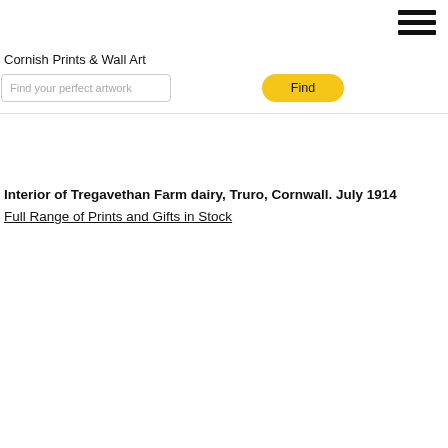Cornish Prints & Wall Art
Find your perfect artwork
Find
Interior of Tregavethan Farm dairy, Truro, Cornwall. July 1914
Full Range of Prints and Gifts in Stock